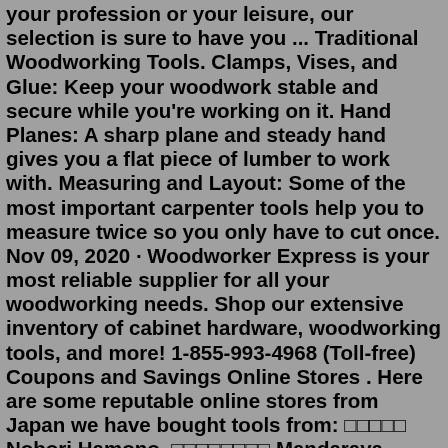your profession or your leisure, our selection is sure to have you ... Traditional Woodworking Tools. Clamps, Vises, and Glue: Keep your woodwork stable and secure while you're working on it. Hand Planes: A sharp plane and steady hand gives you a flat piece of lumber to work with. Measuring and Layout: Some of the most important carpenter tools help you to measure twice so you only have to cut once. Nov 09, 2020 · Woodworker Express is your most reliable supplier for all your woodworking needs. Shop our extensive inventory of cabinet hardware, woodworking tools, and more! 1-855-993-4968 (Toll-free) Coupons and Savings Online Stores . Here are some reputable online stores from Japan we have bought tools from: □□□□□ Nobori Hamono. □□□□□□□□ Mandaraya. □□□mono Hiraide Hamono. □□□□□□□□□ YAMASUKE Japanese tools SHOP . These stores sell high quality, professional tools and ships internationally.Due to recent changes and regulations, Klingspor's Woodworking Shop has changed its Sales Tax Policy. If you or your company are Sales Tax